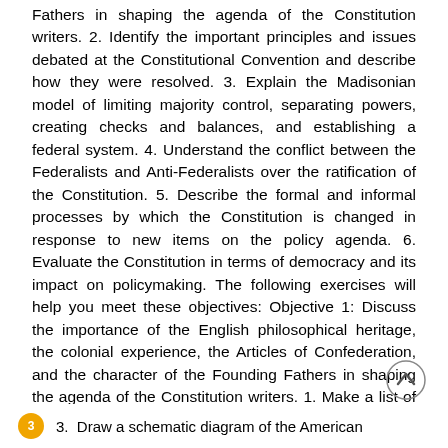Fathers in shaping the agenda of the Constitution writers. 2. Identify the important principles and issues debated at the Constitutional Convention and describe how they were resolved. 3. Explain the Madisonian model of limiting majority control, separating powers, creating checks and balances, and establishing a federal system. 4. Understand the conflict between the Federalists and Anti-Federalists over the ratification of the Constitution. 5. Describe the formal and informal processes by which the Constitution is changed in response to new items on the policy agenda. 6. Evaluate the Constitution in terms of democracy and its impact on policymaking. The following exercises will help you meet these objectives: Objective 1: Discuss the importance of the English philosophical heritage, the colonial experience, the Articles of Confederation, and the character of the Founding Fathers in shaping the agenda of the Constitution writers. 1. Make a list of the major grievances of the colonists under British rule. 2. What are the major components of John Locke's political philosophy and how did they influence Thomas Jefferson's writings? 21
3. Draw a schematic diagram of the American...